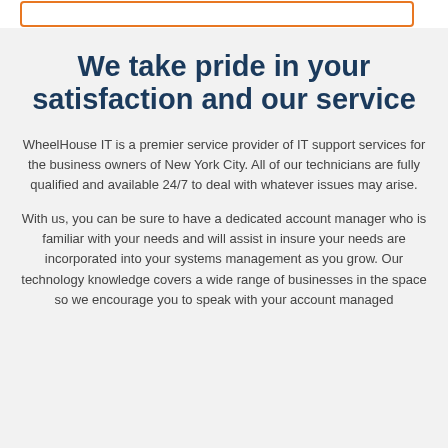[Figure (other): Orange-bordered empty rectangle input/search box]
We take pride in your satisfaction and our service
WheelHouse IT is a premier service provider of IT support services for the business owners of New York City. All of our technicians are fully qualified and available 24/7 to deal with whatever issues may arise.
With us, you can be sure to have a dedicated account manager who is familiar with your needs and will assist in insure your needs are incorporated into your systems management as you grow. Our technology knowledge covers a wide range of businesses in the space so we encourage you to speak with your account managed